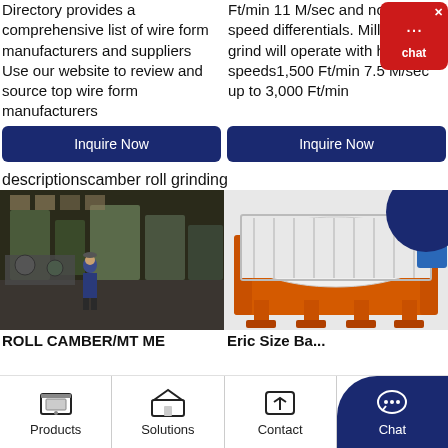Directory provides a comprehensive list of wire form manufacturers and suppliers Use our website to review and source top wire form manufacturers
Ft/min 11 M/sec and no roll speed differentials. Mills used to grind will operate with higher roll speeds1,500 Ft/min 7.5 M/sec up to 3,000 Ft/min
Inquire Now
Inquire Now
descriptionscamber roll grinding
[Figure (photo): Industrial factory floor with machinery and a worker in blue uniform]
[Figure (photo): Orange industrial roll grinding machine with cylindrical drum and blue circle decoration]
ROLL CAMBER/MT ME
Eric Size Ba...
Products | Solutions | Contact | Chat